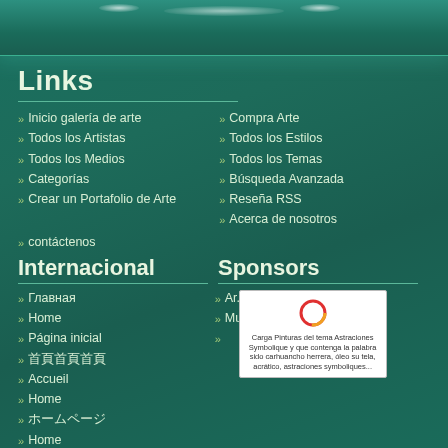Links
Inicio galería de arte
Compra Arte
Todos los Artistas
Todos los Estilos
Todos los Medios
Todos los Temas
Categorías
Búsqueda Avanzada
Crear un Portafolio de Arte
Reseña RSS
Acerca de nosotros
contáctenos
Internacional
Sponsors
Главная
Home
Página inicial
首頁 (Chinese characters)
Accueil
Home
ホームページ (Japanese)
Home
[Figure (other): Sponsor advertisement box with circular logo and Spanish text about painting search]